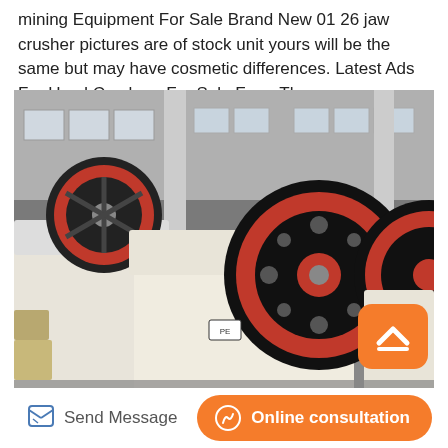mining Equipment For Sale Brand New 01 26 jaw crusher pictures are of stock unit yours will be the same but may have cosmetic differences. Latest Ads For Used Crushers For Sale From The...
[Figure (photo): Industrial jaw crushers (white body with red and black flywheels) displayed inside a large factory warehouse. Multiple units visible.]
Send Message
Online consultation